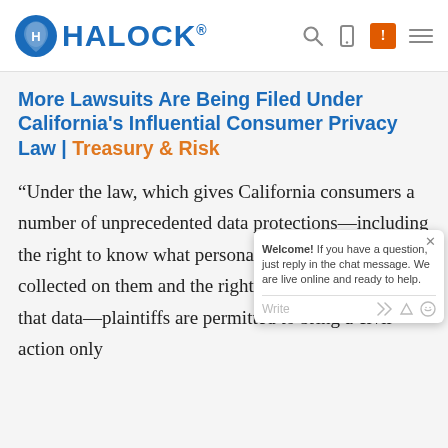HALOCK
More Lawsuits Are Being Filed Under California's Influential Consumer Privacy Law | Treasury & Risk
“Under the law, which gives California consumers a number of unprecedented data protections—including the right to know what personal data businesses have collected on them and the right to prohibit the sale of that data—plaintiffs are permitted to bring a civil action only [if their personal data is breached]...